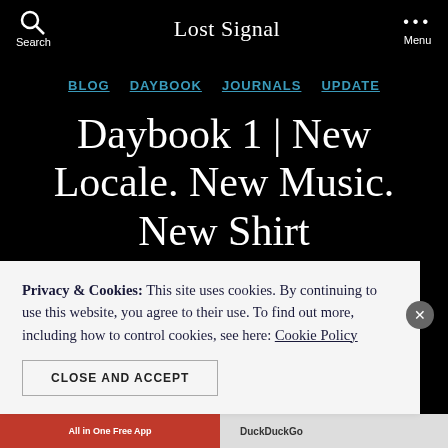Search  Lost Signal  Menu
BLOG  DAYBOOK  JOURNALS  UPDATE
Daybook 1 | New Locale. New Music. New Shirt
Privacy & Cookies: This site uses cookies. By continuing to use this website, you agree to their use. To find out more, including how to control cookies, see here: Cookie Policy
CLOSE AND ACCEPT
[Figure (screenshot): Ad bar at bottom: red left section 'All in One Free App', right section 'DuckDuckGo']